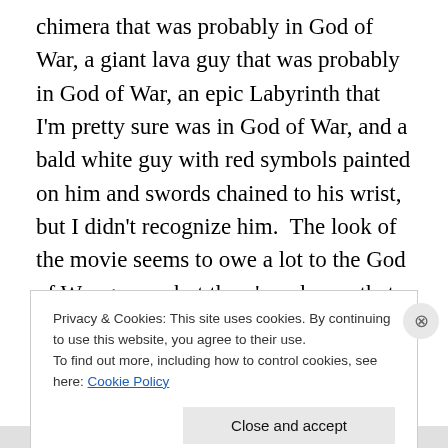chimera that was probably in God of War, a giant lava guy that was probably in God of War, an epic Labyrinth that I'm pretty sure was in God of War, and a bald white guy with red symbols painted on him and swords chained to his wrist, but I didn't recognize him.  The look of the movie seems to owe a lot to the God of War games, but there's a chance that it wasn't just a straight rip off.  But if Kronos wasn't ripped off from God of War, it's entirely possible that it was just a slightly altered remake of the Balrog from Lord of the Rings.  I also liked the guys with two torsos that were fighting in the last battle.  They worked pretty
Privacy & Cookies: This site uses cookies. By continuing to use this website, you agree to their use.
To find out more, including how to control cookies, see here: Cookie Policy
Close and accept